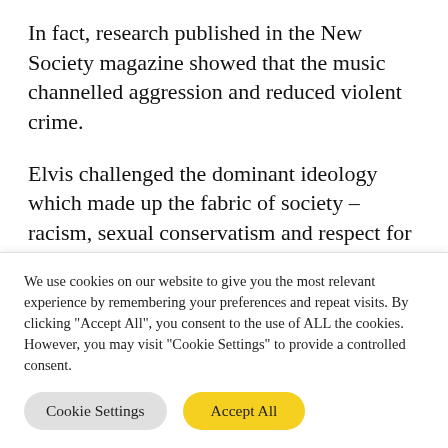In fact, research published in the New Society magazine showed that the music channelled aggression and reduced violent crime.
Elvis challenged the dominant ideology which made up the fabric of society – racism, sexual conservatism and respect for authority. But he was also a source of massive profits.
In the post-war economic boom, young
We use cookies on our website to give you the most relevant experience by remembering your preferences and repeat visits. By clicking "Accept All", you consent to the use of ALL the cookies. However, you may visit "Cookie Settings" to provide a controlled consent.